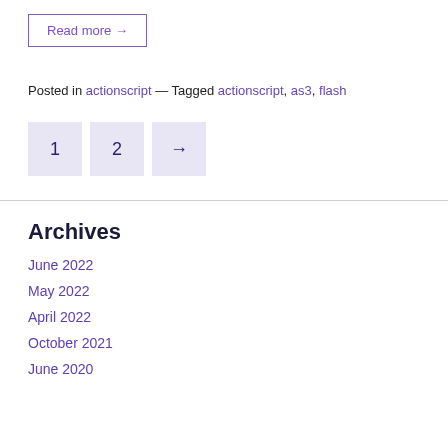Read more →
Posted in actionscript — Tagged actionscript, as3, flash
1  2  →
Archives
June 2022
May 2022
April 2022
October 2021
June 2020